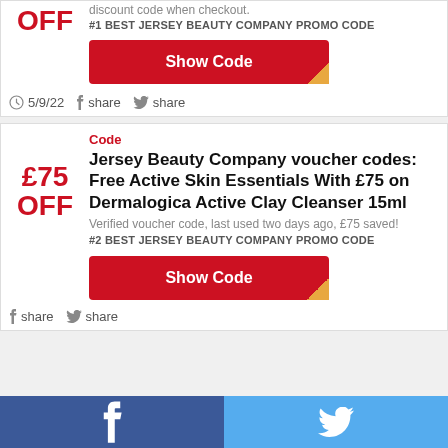OFF
discount code when checkout.
#1 BEST JERSEY BEAUTY COMPANY PROMO CODE
Show Code
5/9/22  share  share
Code
Jersey Beauty Company voucher codes: Free Active Skin Essentials With £75 on Dermalogica Active Clay Cleanser 15ml
Verified voucher code, last used two days ago, £75 saved!
#2 BEST JERSEY BEAUTY COMPANY PROMO CODE
Show Code
share  share
£75 OFF